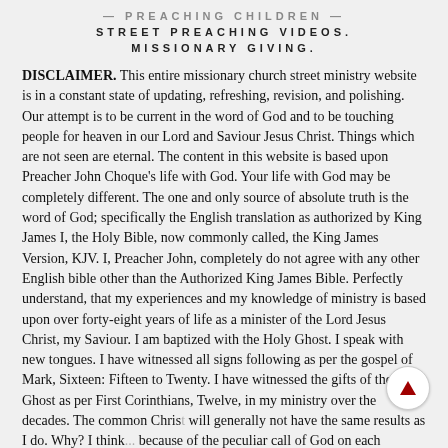STREET PREACHING VIDEOS.
MISSIONARY GIVING.
DISCLAIMER. This entire missionary church street ministry website is in a constant state of updating, refreshing, revision, and polishing. Our attempt is to be current in the word of God and to be touching people for heaven in our Lord and Saviour Jesus Christ. Things which are not seen are eternal. The content in this website is based upon Preacher John Choque's life with God. Your life with God may be completely different. The one and only source of absolute truth is the word of God; specifically the English translation as authorized by King James I, the Holy Bible, now commonly called, the King James Version, KJV. I, Preacher John, completely do not agree with any other English bible other than the Authorized King James Bible. Perfectly understand, that my experiences and my knowledge of ministry is based upon over forty-eight years of life as a minister of the Lord Jesus Christ, my Saviour. I am baptized with the Holy Ghost. I speak with new tongues. I have witnessed all signs following as per the gospel of Mark, Sixteen: Fifteen to Twenty. I have witnessed the gifts of the Holy Ghost as per First Corinthians, Twelve, in my ministry over the decades. The common Chris... will generally not have the same results as I do. Why? I think... because of the peculiar call of God on each Minister's life and Christian's life. Now, this Disclaimer will adjust as greater clarity